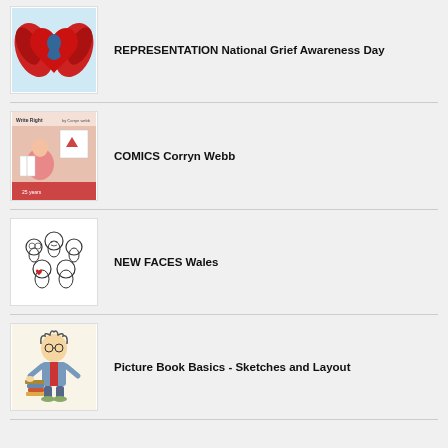[Figure (illustration): Red winged heart with blue figure illustration for REPRESENTATION National Grief Awareness Day]
REPRESENTATION National Grief Awareness Day
[Figure (illustration): Comic book cover Write Right by Corryn Webb showing cartoon character reading]
COMICS Corryn Webb
[Figure (illustration): Line drawing of group of people faces for NEW FACES Wales]
NEW FACES Wales
[Figure (illustration): Cartoon illustration of professor/teacher character with books for Picture Book Basics - Sketches and Layout]
Picture Book Basics - Sketches and Layout